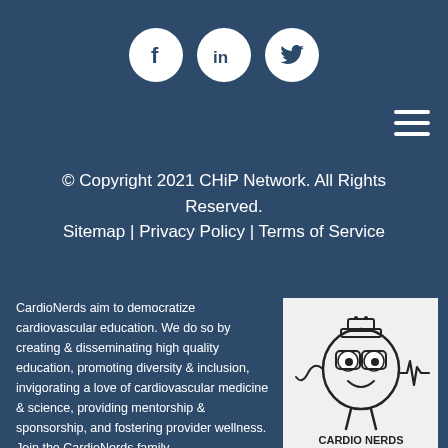[Figure (logo): Three white circular social media icons: Facebook (f), LinkedIn (in), Twitter (bird)]
[Figure (illustration): Hamburger menu icon (three horizontal lines) in top right corner]
© Copyright 2021 CHiP Network. All Rights Reserved.
Sitemap | Privacy Policy | Terms of Service
CardioNerds aim to democratize cardiovascular education. We do so by creating & disseminating high quality education, promoting diversity & inclusion, invigorating a love of cardiovascular medicine & science, providing mentorship & sponsorship, and fostering provider wellness. Join the CardioNerds family
[Figure (logo): CardioNerds logo: cartoon heart character with glasses and ECG waveform, with text 'CARDIO NERDS' below]